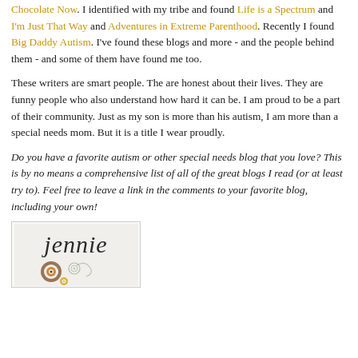Chocolate Now. I identified with my tribe and found Life is a Spectrum and I'm Just That Way and Adventures in Extreme Parenthood. Recently I found Big Daddy Autism. I've found these blogs and more - and the people behind them - and some of them have found me too.
These writers are smart people. The are honest about their lives. They are funny people who also understand how hard it can be. I am proud to be a part of their community. Just as my son is more than his autism, I am more than a special needs mom. But it is a title I wear proudly.
Do you have a favorite autism or other special needs blog that you love? This is by no means a comprehensive list of all of the great blogs I read (or at least try to). Feel free to leave a link in the comments to your favorite blog, including your own!
[Figure (illustration): A signature image showing the name 'jennie' in cursive script with decorative circular spiral designs below it, on a light gray background, enclosed in a thin border box.]